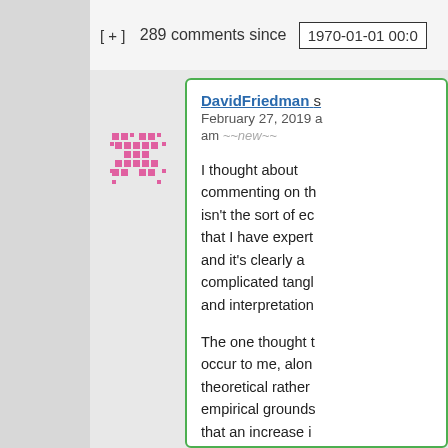[ + ]  289 comments since  1970-01-01 00:0
[Figure (illustration): Pink pixel/mosaic avatar icon]
DavidFriedman s
February 27, 2019
am *new*
I thought about commenting on th isn't the sort of ec that I have expert and it's clearly a complicated tangl and interpretation
The one thought t occur to me, alon theoretical rather empirical grounds that an increase i